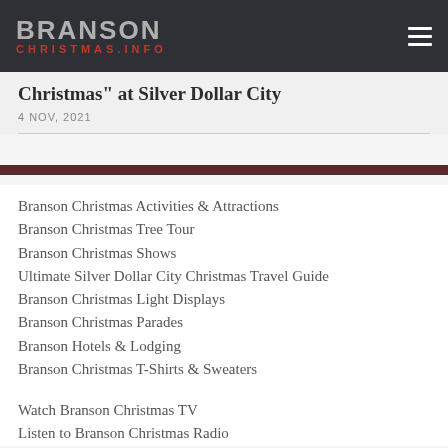BRANSON CHRISTMAS.INFO
Christmas" at Silver Dollar City
4 NOV, 2021
Branson Christmas Activities & Attractions
Branson Christmas Tree Tour
Branson Christmas Shows
Ultimate Silver Dollar City Christmas Travel Guide
Branson Christmas Light Displays
Branson Christmas Parades
Branson Hotels & Lodging
Branson Christmas T-Shirts & Sweaters
Watch Branson Christmas TV
Listen to Branson Christmas Radio